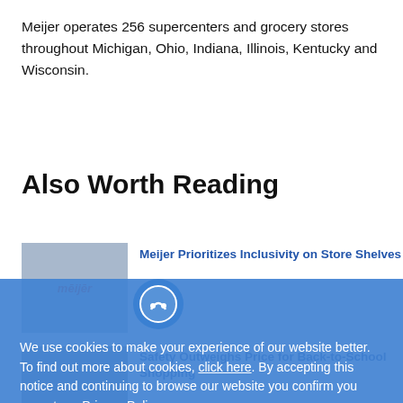Meijer operates 256 supercenters and grocery stores throughout Michigan, Ohio, Indiana, Illinois, Kentucky and Wisconsin.
Also Worth Reading
[Figure (photo): Thumbnail image with Meijer logo]
Meijer Prioritizes Inclusivity on Store Shelves
[Figure (photo): Thumbnail image of back-to-school shopping scene]
Safety Outweighs Price for Back-to-School Shopping
[Figure (photo): Thumbnail image related to Target toy retailer article]
Target Aims to Be Top Toy Retailer This Christmas
[Figure (photo): Dollar General yellow logo thumbnail]
Dollar General Offers its Own 'Prime Day'
We use cookies to make your experience of our website better. To find out more about cookies, click here. By accepting this notice and continuing to browse our website you confirm you accept our Privacy Policy
OK